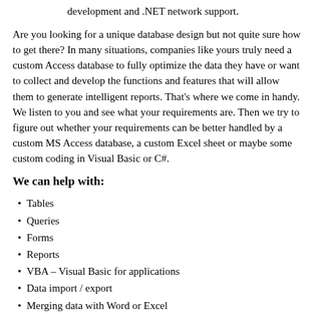development and .NET network support.
Are you looking for a unique database design but not quite sure how to get there? In many situations, companies like yours truly need a custom Access database to fully optimize the data they have or want to collect and develop the functions and features that will allow them to generate intelligent reports. That's where we come in handy. We listen to you and see what your requirements are. Then we try to figure out whether your requirements can be better handled by a custom MS Access database, a custom Excel sheet or maybe some custom coding in Visual Basic or C#.
We can help with:
Tables
Queries
Forms
Reports
VBA – Visual Basic for applications
Data import / export
Merging data with Word or Excel
Linking to SQL server data
Data migration
MS Access version updates